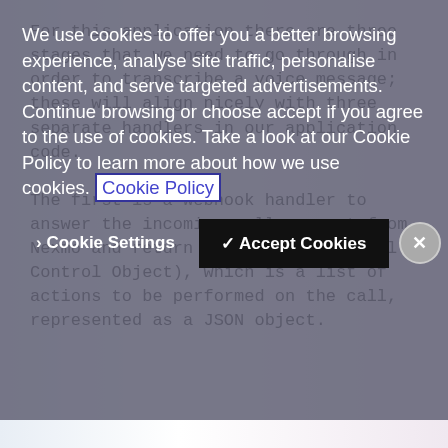We use cookies to offer you a better browsing experience, analyse site traffic, personalise content, and serve targeted advertisements. Continue browsing or choose accept if you agree to the use of cookies. Take a look at our Cookie Policy to learn more about how we use cookies. Cookie Policy
Cookie Settings | ✓ Accept Cookies | X
For this application there are three stages that we need to go through in order to transcribe a voice message; these will align nicely with three separate handlers in our application code.
The first is a webhook handler to answer the incoming call request from Nexmo and return an NCCO (Nexmo Call Control Object), which is a list of actions to be performed on the call, represented as a JSON object.